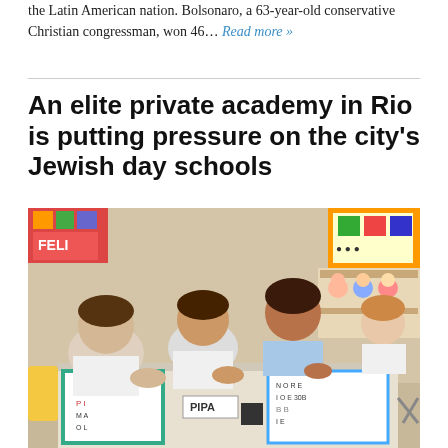the Latin American nation. Bolsonaro, a 63-year-old conservative Christian congressman, won 46… Read more »
An elite private academy in Rio is putting pressure on the city's Jewish day schools
[Figure (photo): Photo of a classroom scene with young children and a teacher seated around a table with alphabet and learning materials. A sign reading PIPA is visible on the table.]